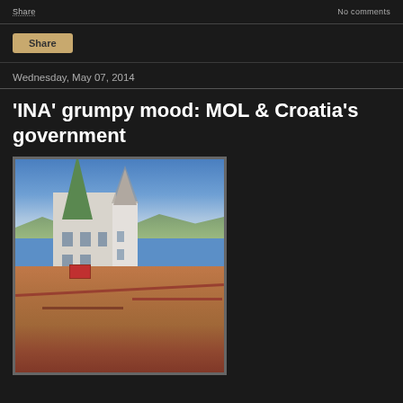Share | No comments
Wednesday, May 07, 2014
'INA' grumpy mood: MOL & Croatia's government
[Figure (photo): Aerial view of Zagreb old town with church spire and red-tiled rooftops under blue sky]